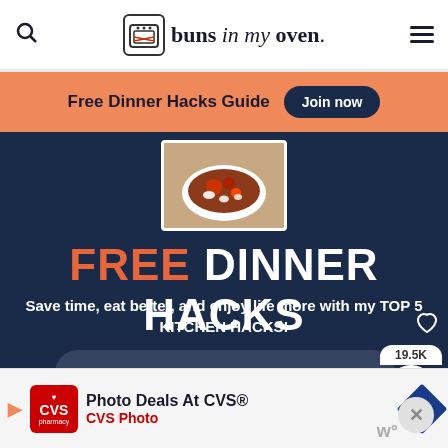buns in my oven.
Free Dinner Hacks Guide  Join now
[Figure (photo): Food photo showing a dish with sauce and white elements in a white bowl]
FREE DINNER HACKS
Save time, eat better, and enjoy life more with my TOP 5 KITCHEN HACKS!
19.5K
name...
email...
WHAT'S NEXT → Crockpot Chicken and...
Photo Deals At CVS®  CVS Photo